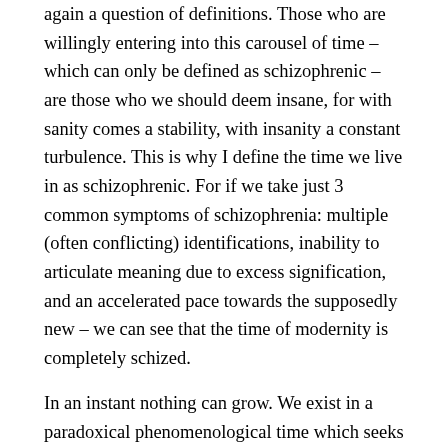again a question of definitions. Those who are willingly entering into this carousel of time – which can only be defined as schizophrenic – are those who we should deem insane, for with sanity comes a stability, with insanity a constant turbulence. This is why I define the time we live in as schizophrenic. For if we take just 3 common symptoms of schizophrenia: multiple (often conflicting) identifications, inability to articulate meaning due to excess signification, and an accelerated pace towards the supposedly new – we can see that the time of modernity is completely schized.
In an instant nothing can grow. We exist in a paradoxical phenomenological time which seeks to destroy its own essence as a temporality. Modernity wishes for time to be space. As Beings with the apparent functions to interpret data we believe ourselves to always have one-over modernity, as if because we push the buttons, this truly means we are in charge. I would ask you of course to look around, to...look our your windows! Is the man who